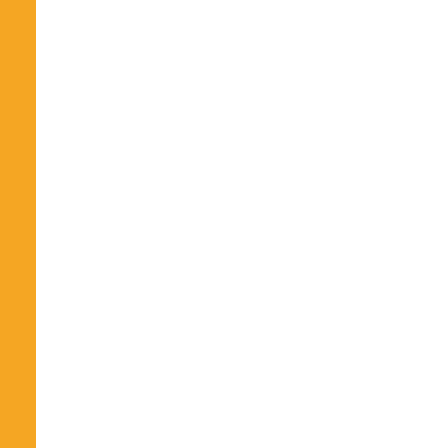| No. | Date | Title |
| --- | --- | --- |
| 526. | 21/06/2017 | CET(PG) - 2... |
| 527. | 21/06/2017 | CET(PG) - 2... |
| 528. | 21/06/2017 | CET(PG) - 2... |
| 529. | 21/06/2017 | CET(PG) - 2... |
| 530. | 21/06/2017 | CET(PG) - 2... |
| 531. | 08/06/2017 | Re-examina... |
| 532. | 07/06/2017 | Answer Key ... |
| 533. | 07/06/2017 | Question Bo... |
| 534. | 07/06/2017 | Question Bo... |
| 535. | 07/06/2017 | Question Bo... |
| 536. | 07/06/2017 | Question Bo... |
| 537. | 04/06/2017 | CHANGE in Examination ... |
| 538. | 04/06/2017 | ADDITION in MBA/Food T... |
| 539. | 02/06/2017 | ADDITIONS DIPLOMA C... |
| 540. | 31/05/2017 | UGLAW-201... |